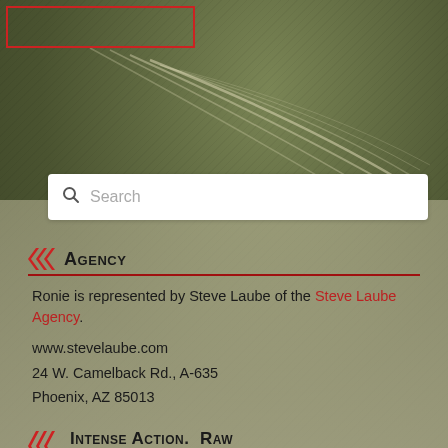[Figure (screenshot): Search bar with magnifying glass icon and 'Search' placeholder text on white background]
Agency
Ronie is represented by Steve Laube of the Steve Laube Agency.
www.stevelaube.com
24 W. Camelback Rd., A-635
Phoenix, AZ 85013
Intense Action. Raw Characters. Real Life.
TALON is Kendig at the top of her game! ~Tosca Lee, New York Times Best Selling Author of the Book of Mortals series with